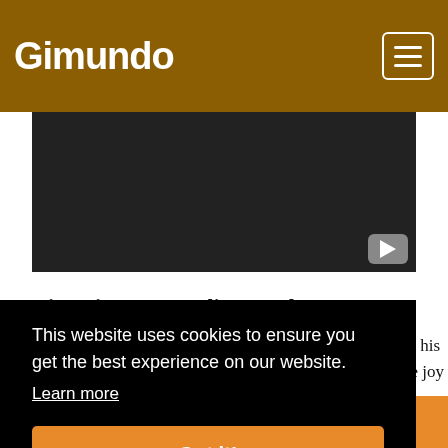Gimundo
[Figure (screenshot): Dark video player area with YouTube play button icon in bottom right corner]
Nina Simone – Feelin' Good
“Birds flying high, you know how I feel... Sun in the sky, you know how I feel”
This website uses cookies to ensure you get the best experience on our website.
Learn more
Got it!